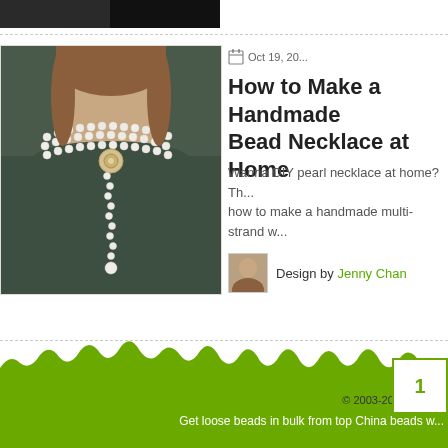[Figure (photo): Dark top strip showing partial image of previous article thumbnail]
[Figure (photo): Photo of a woman wearing a multi-strand pearl bead choker necklace with a lariat drop, wearing a dark green dress]
Oct 19, 20...
How to Make a Handmade Bead Necklace at Home
Wanna DIY pearl necklace at home? Th... how to make a handmade multi-strand w...
Design by Jenny Chan
1  2
© 2003-2022 ePan...
Get loose beads in bulk from top China beads w...